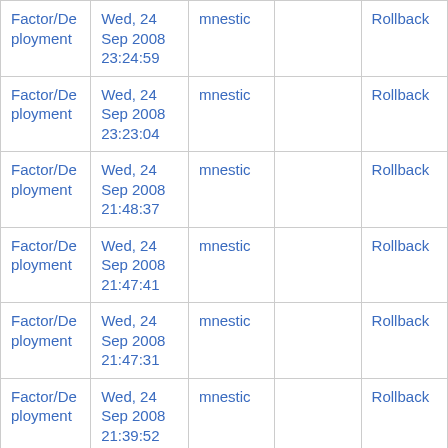| Factor/Deployment | Wed, 24 Sep 2008 23:24:59 | mnestic |  | Rollback |
| Factor/Deployment | Wed, 24 Sep 2008 23:23:04 | mnestic |  | Rollback |
| Factor/Deployment | Wed, 24 Sep 2008 21:48:37 | mnestic |  | Rollback |
| Factor/Deployment | Wed, 24 Sep 2008 21:47:41 | mnestic |  | Rollback |
| Factor/Deployment | Wed, 24 Sep 2008 21:47:31 | mnestic |  | Rollback |
| Factor/Deployment | Wed, 24 Sep 2008 21:39:52 | mnestic |  | Rollback |
| Factor/Deployment | Wed, 24 Sep 2008 21:23:45 | mnestic |  | Rollback |